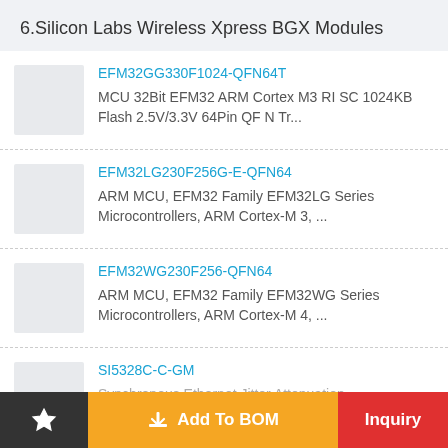6.Silicon Labs Wireless Xpress BGX Modules
EFM32GG330F1024-QFN64T
MCU 32Bit EFM32 ARM Cortex M3 RI SC 1024KB Flash 2.5V/3.3V 64Pin QF N Tr...
EFM32LG230F256G-E-QFN64
ARM MCU, EFM32 Family EFM32LG Series Microcontrollers, ARM Cortex-M 3, ...
EFM32WG230F256-QFN64
ARM MCU, EFM32 Family EFM32WG Series Microcontrollers, ARM Cortex-M 4, ...
SI5328C-C-GM
Synchronous Ethernet Jitter Attenuation...